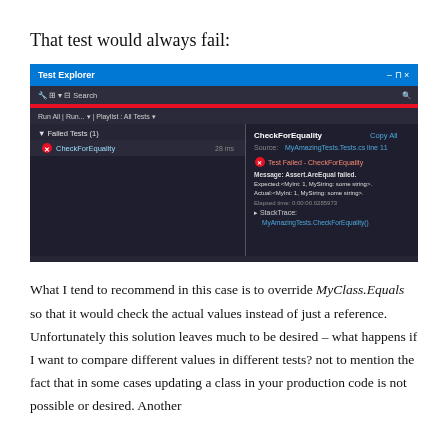That test would always fail:
[Figure (screenshot): Visual Studio Test Explorer screenshot showing a failed test named CheckForEquality. The left panel shows 'Failed Tests (1)' with CheckForEquality taking 28ms. The right panel shows the test details: Source: MyAmazingTests.Tests.cs line 11, Test failed - CheckForEquality, Message: Assert.AreEqual failed. Expected:<MyInt: 1, MyString: some string>. Actual:<MyInt: 1, MyString: some string>. Elapsed time: 0:00:00.0285973. StackTrace: MyAmazingTests.CheckForEquality()]
What I tend to recommend in this case is to override MyClass.Equals so that it would check the actual values instead of just a reference. Unfortunately this solution leaves much to be desired – what happens if I want to compare different values in different tests? not to mention the fact that in some cases updating a class in your production code is not possible or desired. Another